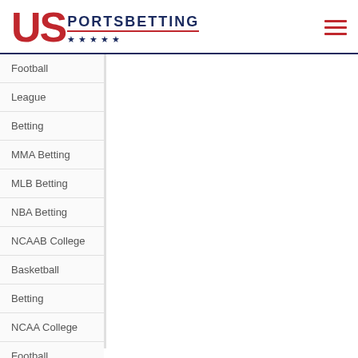US PORTSBETTING
Football
League
Betting
MMA Betting
MLB Betting
NBA Betting
NCAAB College
Basketball
Betting
NCAA College
Football
Betting
Soccer Betting